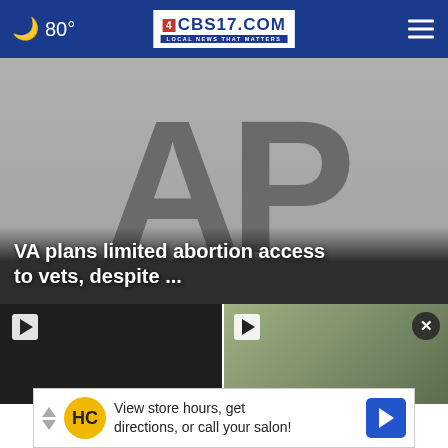🌙 80° | CBS17.COM LOCAL NEWS THAT MATTERS
[Figure (photo): AP (Associated Press) logo placeholder image in grey tones]
VA plans limited abortion access to vets, despite ...
[Figure (screenshot): Left video thumbnail, dark background with play button]
[Figure (screenshot): Right video thumbnail with play button and close X button, outdoor scene]
View store hours, get directions, or call your salon!